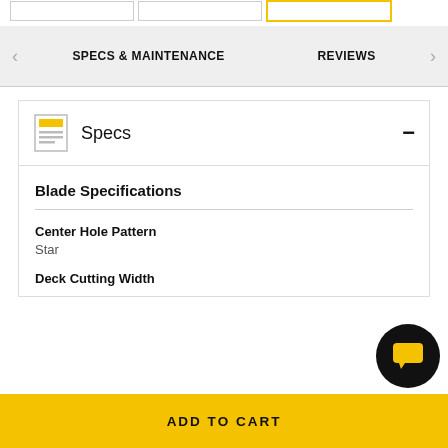SPECS & MAINTENANCE   REVIEWS
Specs
Blade Specifications
Center Hole Pattern
Star
Deck Cutting Width
ADD TO CART